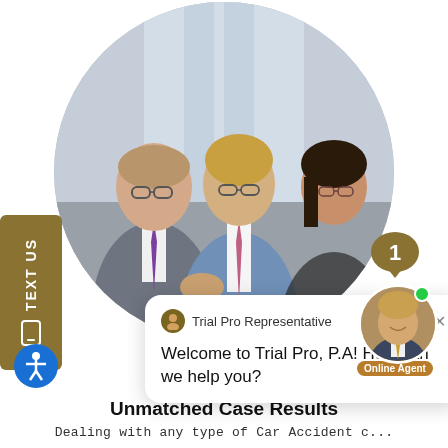[Figure (photo): Circular photo of three legal professionals in business suits discussing documents — an older man in gray suit with purple tie, a younger blond man in blue suit with pink tie, and a dark-haired woman — in an office setting.]
[Figure (screenshot): TEXT US vertical sidebar button in gold/dark yellow on left edge of page.]
[Figure (screenshot): Chat popup with header 'Trial Pro Representative' and message 'Welcome to Trial Pro, P.A! How can we help you?' with a close X button.]
[Figure (photo): Online agent widget with gold speech bubble showing number 1, circular photo of a smiling male attorney in suit, green online indicator dot, and 'Online Agent' label.]
[Figure (illustration): Blue circular accessibility icon (person with arms extended) in bottom left corner.]
Unmatched Case Results
Dealing with any type of Car Accident c...